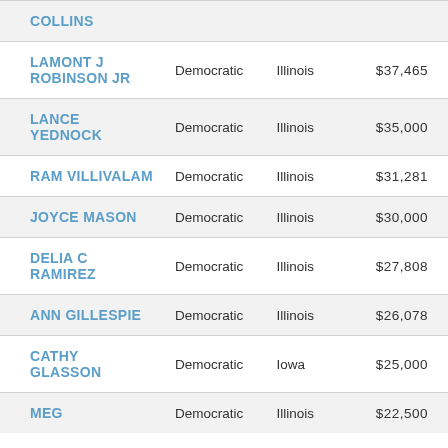| Name | Party | State | Amount |
| --- | --- | --- | --- |
| COLLINS |  |  |  |
| LAMONT J ROBINSON JR | Democratic | Illinois | $37,465 |
| LANCE YEDNOCK | Democratic | Illinois | $35,000 |
| RAM VILLIVALAM | Democratic | Illinois | $31,281 |
| JOYCE MASON | Democratic | Illinois | $30,000 |
| DELIA C RAMIREZ | Democratic | Illinois | $27,808 |
| ANN GILLESPIE | Democratic | Illinois | $26,078 |
| CATHY GLASSON | Democratic | Iowa | $25,000 |
| MEG | Democratic | Illinois | $22,500 |